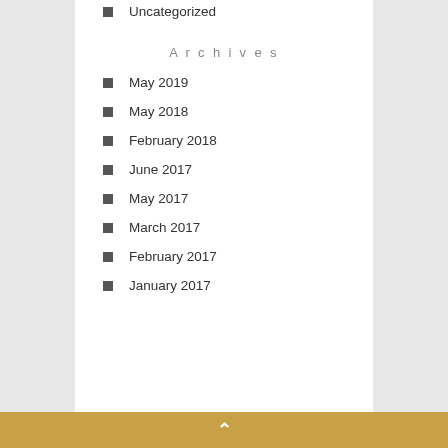Uncategorized
Archives
May 2019
May 2018
February 2018
June 2017
May 2017
March 2017
February 2017
January 2017
^